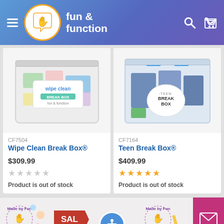[Figure (screenshot): Fun & Function website header with logo, hamburger menu, search and cart icons on blue/purple gradient background]
[Figure (photo): Wipe Clean Break Box product photo showing a clear plastic container with colorful items inside and a label reading 'wipe clean break box']
CF7504
Wipe Clean Break Box®
$309.99
Product is out of stock
[Figure (photo): Teen Break Box product photo showing a clear plastic container with blue clasps and items inside with a 'Teen Break Box' label]
CF7164
Teen Break Box®
$409.99
Product is out of stock
[Figure (screenshot): Bottom banner showing 'Made by Fun and Function' logos, a SALE badge, accessibility button and mail button]